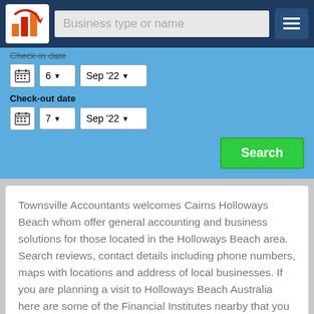[Figure (logo): Orange and red bar chart logo with circular arrow]
Business type or name
Check-in date
6  Sep '22
Check-out date
7  Sep '22
Search
Townsville Accountants welcomes Cairns Holloways Beach whom offer general accounting and business solutions for those located in the Holloways Beach area. Search reviews, contact details including phone numbers, maps with locations and address of local businesses. If you are planning a visit to Holloways Beach Australia here are some of the Financial Institutes nearby that you can search.